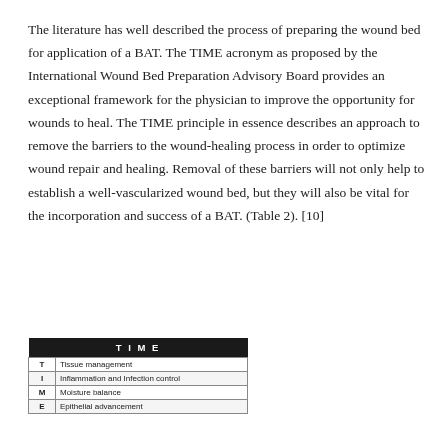The literature has well described the process of preparing the wound bed for application of a BAT. The TIME acronym as proposed by the International Wound Bed Preparation Advisory Board provides an exceptional framework for the physician to improve the opportunity for wounds to heal. The TIME principle in essence describes an approach to remove the barriers to the wound-healing process in order to optimize wound repair and healing. Removal of these barriers will not only help to establish a well-vascularized wound bed, but they will also be vital for the incorporation and success of a BAT. (Table 2). [10]
| TIME |
| --- |
| T | Tissue management |
| I | Inflammation and Infection control |
| M | Moisture balance |
| E | Epithelial advancement |